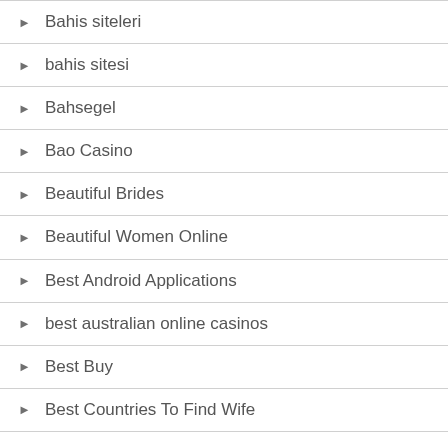Bahis siteleri
bahis sitesi
Bahsegel
Bao Casino
Beautiful Brides
Beautiful Women Online
Best Android Applications
best australian online casinos
Best Buy
Best Countries To Find Wife